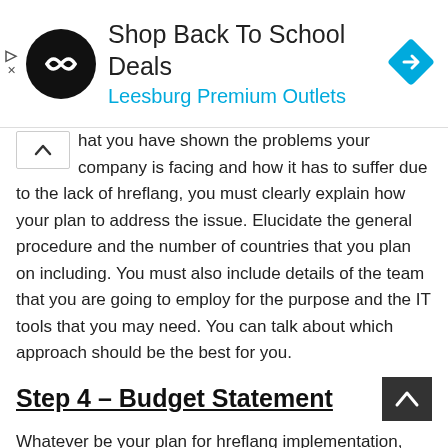[Figure (screenshot): Advertisement banner: black circular logo with white arrows icon, text 'Shop Back To School Deals' with 'Leesburg Premium Outlets' in blue, and a cyan diamond navigation icon on the right. Skip/play controls on far left.]
...hat you have shown the problems your company is facing and how it has to suffer due to the lack of hreflang, you must clearly explain how your plan to address the issue. Elucidate the general procedure and the number of countries that you plan on including. You must also include details of the team that you are going to employ for the purpose and the IT tools that you may need. You can talk about which approach should be the best for you.
Step 4 – Budget Statement
Whatever be your plan for hreflang implementation, you need to get approval for the budget. If the program is for a one-time project, then the budget may be relatively high as